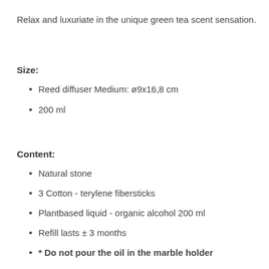Relax and luxuriate in the unique green tea scent sensation.
Size:
Reed diffuser Medium: ø9x16,8 cm
200 ml
Content:
Natural stone
3 Cotton - terylene fibersticks
Plantbased liquid - organic alcohol 200 ml
Refill lasts ± 3 months
* Do not pour the oil in the marble holder